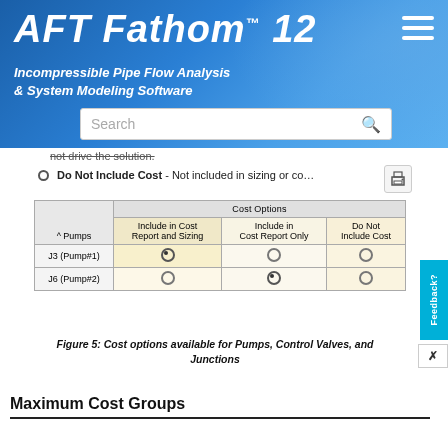AFT Fathom™ 12 Incompressible Pipe Flow Analysis & System Modeling Software
not drive the solution.
Do Not Include Cost - Not included in sizing or cost report and will not drive the solution.
| Pumps | Include in Cost Report and Sizing | Include in Cost Report Only | Do Not Include Cost |
| --- | --- | --- | --- |
| J3 (Pump#1) | ● | ○ | ○ |
| J6 (Pump#2) | ○ | ● | ○ |
Figure 5: Cost options available for Pumps, Control Valves, and Junctions
Maximum Cost Groups